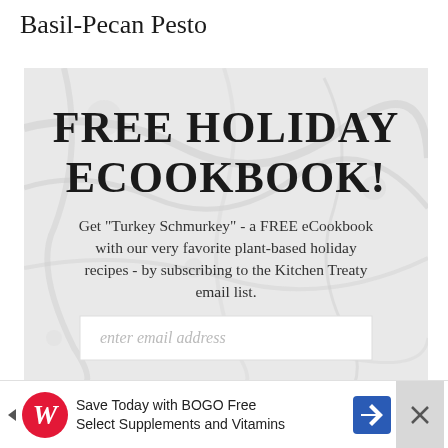Basil-Pecan Pesto
[Figure (infographic): Promotional signup box with marble background texture. Large heading: FREE HOLIDAY ECOOKBOOK! Subtext: Get "Turkey Schmurkey" - a FREE eCookbook with our very favorite plant-based holiday recipes - by subscribing to the Kitchen Treaty email list. Below is an email input field and a SEND ME... button.]
SEND ME...
[Figure (infographic): Advertisement banner: Save Today with BOGO Free Select Supplements and Vitamins. Walgreens logo visible. Navigation arrow icon and close X button.]